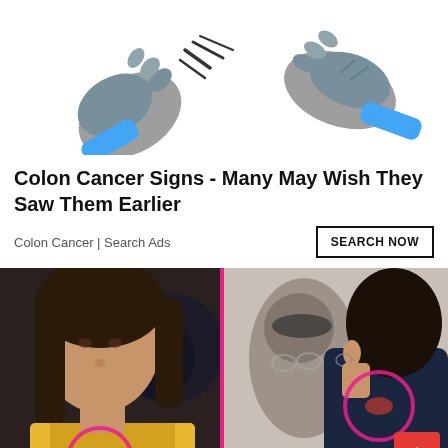[Figure (illustration): Cartoon illustration of two stylized hands/gloves with lightning bolt lines suggesting motion or conflict, blue and grey colors on white background]
Colon Cancer Signs - Many May Wish They Saw Them Earlier
Colon Cancer | Search Ads
[Figure (photo): Split photo: left side shows a young woman in a yellow top with a pink circle drawn around her midsection/rib area; right side shows a man with dark hair from behind/side profile with a pink circle drawn around a mark on his neck/shoulder area. Red scroll-to-top button in bottom right corner.]